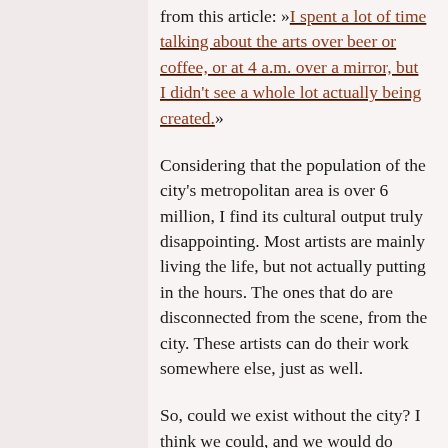from this article: »I spent a lot of time talking about the arts over beer or coffee, or at 4 a.m. over a mirror, but I didn't see a whole lot actually being created.»
Considering that the population of the city's metropolitan area is over 6 million, I find its cultural output truly disappointing. Most artists are mainly living the life, but not actually putting in the hours. The ones that do are disconnected from the scene, from the city. These artists can do their work somewhere else, just as well.
So, could we exist without the city? I think we could, and we would do rather well. I mean, the amenities are useful. Public transportation is good, and we have our jobs here. The copious amounts of trash do form a singular compel-